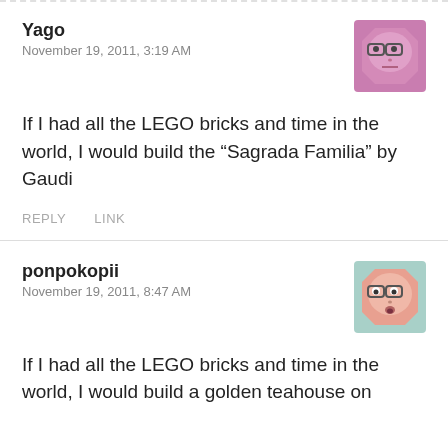Yago
November 19, 2011, 3:19 AM
[Figure (illustration): Cartoon avatar of a purple/pink octagon-shaped face with glasses, neutral expression]
If I had all the LEGO bricks and time in the world, I would build the “Sagrada Familia” by Gaudi
REPLY   LINK
ponpokopii
November 19, 2011, 8:47 AM
[Figure (illustration): Cartoon avatar of a pink/salmon octagon-shaped face with glasses and surprised expression]
If I had all the LEGO bricks and time in the world, I would build a golden teahouse on